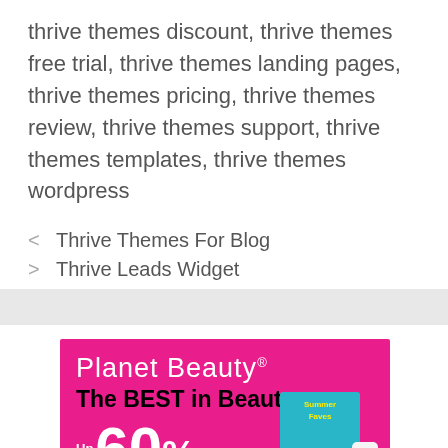thrive themes discount, thrive themes free trial, thrive themes landing pages, thrive themes pricing, thrive themes review, thrive themes support, thrive themes templates, thrive themes wordpress
< Thrive Themes For Blog
> Thrive Leads Widget
[Figure (illustration): Planet Beauty advertisement banner with magenta/pink background. Shows 'Planet Beauty' logo in white, 'The BEST in Beauty' tagline in black bold text, 'Up To 60%' discount text in white, and a product box image on the right side.]